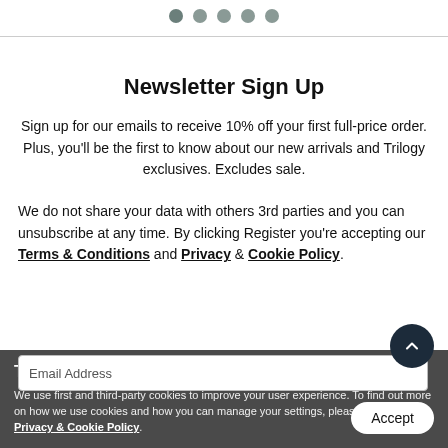[Figure (other): Pagination dots: five grey circles at the top of the page]
Newsletter Sign Up
Sign up for our emails to receive 10% off your first full-price order. Plus, you'll be the first to know about our new arrivals and Trilogy exclusives. Excludes sale.
We do not share your data with others 3rd parties and you can unsubscribe at any time. By clicking Register you're accepting our Terms & Conditions and Privacy & Cookie Policy.
Email Address
This website uses cookies
We use first and third-party cookies to improve your user experience. To find out more on how we use cookies and how you can manage your settings, please see our Privacy & Cookie Policy.
Accept